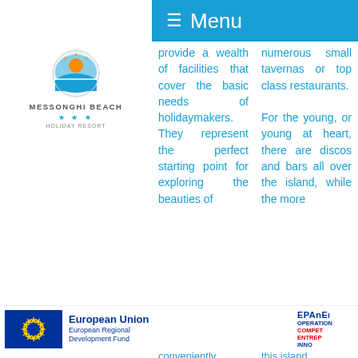[Figure (logo): Messonghi Beach Holiday Resort logo with circular emblem showing sun and sea, stars rating, text MESSONGHI BEACH HOLIDAY RESORT]
≡ Menu
provide a wealth of facilities that cover the basic needs of holidaymakers. They represent the perfect starting point for exploring the beauties of
numerous small tavernas or top class restaurants. For the young, or young at heart, there are discos and bars all over the island, while the more
[Figure (logo): European Union flag (blue with yellow stars circle) and text: European Union, European Regional Development Fund; EPAnEl OPERATION COMPET ENTREP INNO]
conveniently